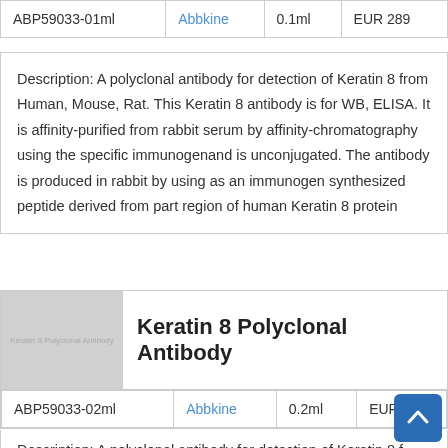| Product ID | Brand | Size | Price |
| --- | --- | --- | --- |
| ABP59033-01ml | Abbkine | 0.1ml | EUR 289 |
Description: A polyclonal antibody for detection of Keratin 8 from Human, Mouse, Rat. This Keratin 8 antibody is for WB, ELISA. It is affinity-purified from rabbit serum by affinity-chromatography using the specific immunogenand is unconjugated. The antibody is produced in rabbit by using as an immunogen synthesized peptide derived from part region of human Keratin 8 protein
[Figure (photo): Product image placeholder for Keratin 8 Polyclonal Antibody showing grey rectangle with text]
Keratin 8 Polyclonal Antibody
| Product ID | Brand | Size | Price |
| --- | --- | --- | --- |
| ABP59033-02ml | Abbkine | 0.2ml | EUR 4... |
Description: A polyclonal antibody for detection of Keratin 8 f...